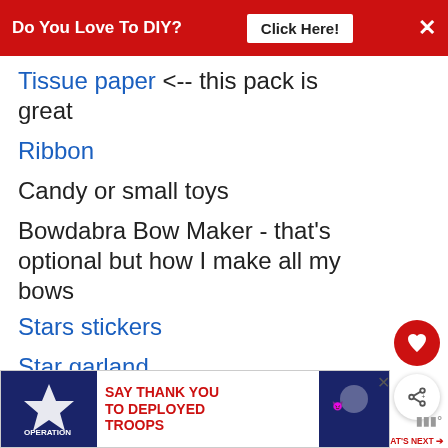[Figure (screenshot): Red banner ad: 'Do You Love To DIY?' with 'Click Here!' button and X close button]
Tissue paper <-- this pack is great
Ribbon
Candy or small toys
Bowdabra Bow Maker - that's optional but how I make all my bows
Stars stickers
Star garland
Pipe Cleaners
Step 2: Cut
[Figure (screenshot): Bottom banner ad: Operation Gratitude - SAY THANK YOU TO DEPLOYED TROOPS]
[Figure (infographic): WHAT'S NEXT arrow with thumbnail and 'Cute Christmas...' text]